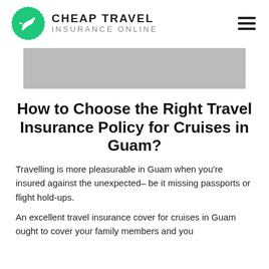CHEAP TRAVEL INSURANCE ONLINE
[Figure (other): Gray rectangular banner placeholder image]
How to Choose the Right Travel Insurance Policy for Cruises in Guam?
Travelling is more pleasurable in Guam when you're insured against the unexpected– be it missing passports or flight hold-ups.
An excellent travel insurance cover for cruises in Guam ought to cover your family members and you